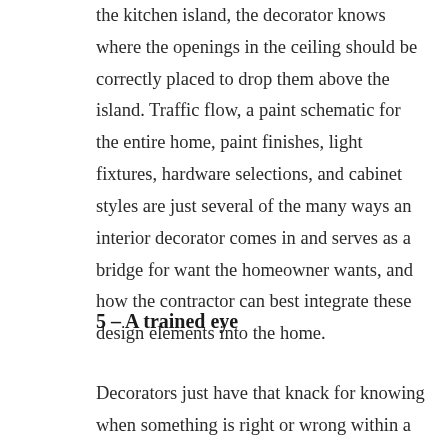the kitchen island, the decorator knows where the openings in the ceiling should be correctly placed to drop them above the island. Traffic flow, a paint schematic for the entire home, paint finishes, light fixtures, hardware selections, and cabinet styles are just several of the many ways an interior decorator comes in and serves as a bridge for want the homeowner wants, and how the contractor can best integrate these design elements into the home.
5 – A trained eye
Decorators just have that knack for knowing when something is right or wrong within a space. They